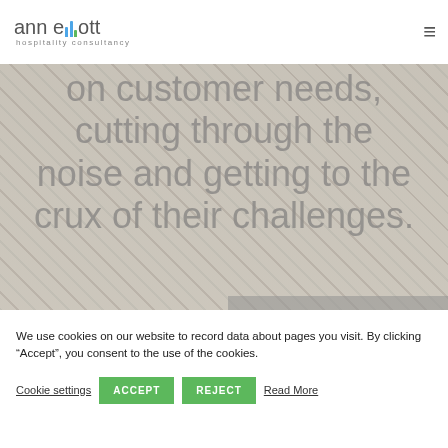ann elliott hospitality consultancy
[Figure (screenshot): Hero image with blurred restaurant/cafe background showing chairs. Large light gray text overlay reads: 'on customer needs, cutting through the noise and getting to the crux of their challenges.']
We use cookies on our website to record data about pages you visit. By clicking “Accept”, you consent to the use of the cookies.
Cookie settings | ACCEPT | REJECT | Read More